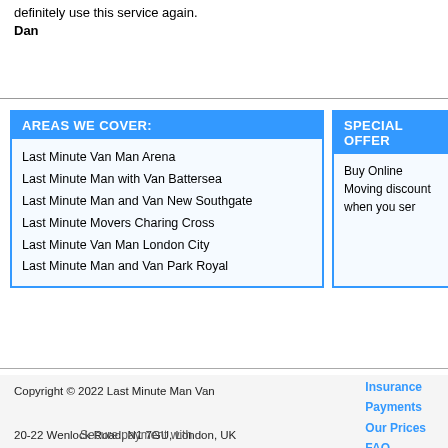definitely use this service again.
Dan
AREAS WE COVER:
Last Minute Van Man Arena
Last Minute Man with Van Battersea
Last Minute Man and Van New Southgate
Last Minute Movers Charing Cross
Last Minute Van Man London City
Last Minute Man and Van Park Royal
SPECIAL OFFER
Buy Online Moving discount when you ser
Copyright © 2022 Last Minute Man Van
20-22 Wenlock Road, N1 7GU, London, UK
Insurance
Payments
Our Prices
FAQ
Order Status
Blog
Secure payment with